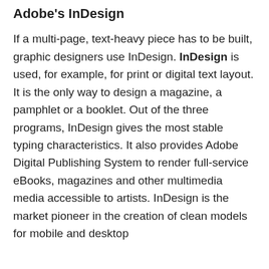Adobe's InDesign
If a multi-page, text-heavy piece has to be built, graphic designers use InDesign. InDesign is used, for example, for print or digital text layout. It is the only way to design a magazine, a pamphlet or a booklet. Out of the three programs, InDesign gives the most stable typing characteristics. It also provides Adobe Digital Publishing System to render full-service eBooks, magazines and other multimedia media accessible to artists. InDesign is the market pioneer in the creation of clean models for mobile and desktop